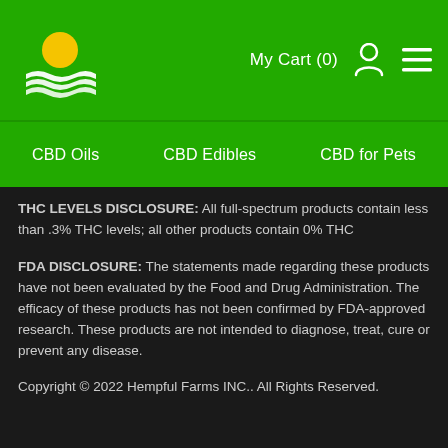[Figure (logo): Hempful Farms logo: yellow sun rising over green waves/fields on green background]
My Cart (0)
CBD Oils    CBD Edibles    CBD for Pets
THC LEVELS DISCLOSURE: All full-spectrum products contain less than .3% THC levels; all other products contain 0% THC
FDA DISCLOSURE: The statements made regarding these products have not been evaluated by the Food and Drug Administration. The efficacy of these products has not been confirmed by FDA-approved research. These products are not intended to diagnose, treat, cure or prevent any disease.
Copyright © 2022 Hempful Farms INC.. All Rights Reserved.